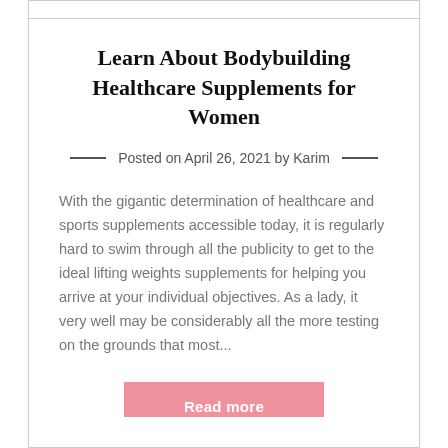Learn About Bodybuilding Healthcare Supplements for Women
Posted on April 26, 2021 by Karim
With the gigantic determination of healthcare and sports supplements accessible today, it is regularly hard to swim through all the publicity to get to the ideal lifting weights supplements for helping you arrive at your individual objectives. As a lady, it very well may be considerably all the more testing on the grounds that most...
Read more